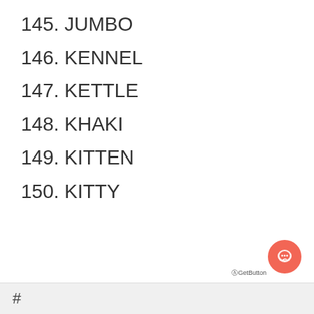145. JUMBO
146. KENNEL
147. KETTLE
148. KHAKI
149. KITTEN
150. KITTY
#